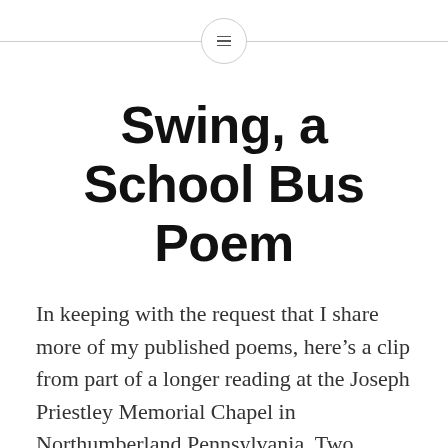Swing, a School Bus Poem
In keeping with the request that I share more of my published poems, here’s a clip from part of a longer reading at the Joseph Priestley Memorial Chapel in Northumberland Pennsylvania. Two months later this poem appeared in the pages of Contemporary American Voices alongside the excellent poets Brian Fanelli and Jason Allen. Swing While I was…